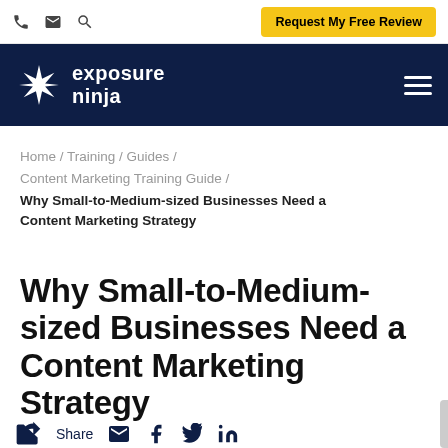Request My Free Review | phone | email | search icons
[Figure (logo): Exposure Ninja logo with ninja star icon and text 'exposure ninja' on dark navy background, with hamburger menu icon on the right]
Home / Training / Guides / Content Marketing Training Guide / Why Small-to-Medium-sized Businesses Need a Content Marketing Strategy
Why Small-to-Medium-sized Businesses Need a Content Marketing Strategy
Share